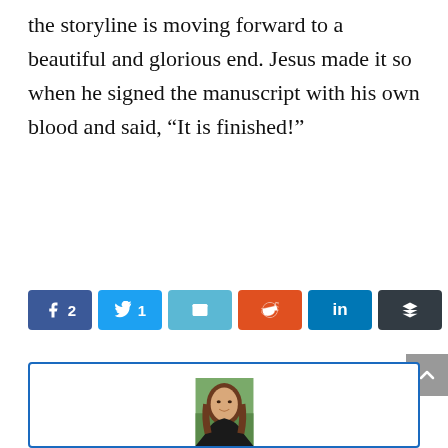the storyline is moving forward to a beautiful and glorious end. Jesus made it so when he signed the manuscript with his own blood and said, “It is finished!”
[Figure (screenshot): Social share buttons row: Facebook (2), Twitter (1), Email, Reddit, LinkedIn, Buffer]
[Figure (photo): Author bio box with a photo of a smiling woman with long brown hair, outdoors background, inside a blue-bordered box]